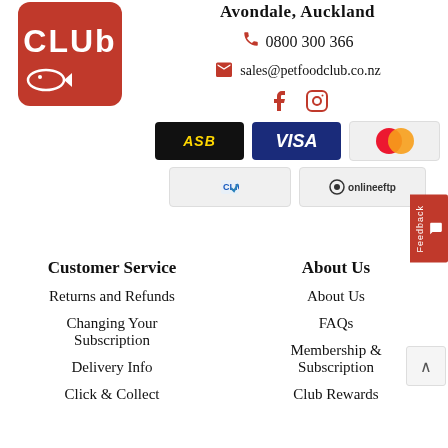[Figure (logo): Pet Food Club logo - red square with CLUB text and fish icon]
Avondale, Auckland
0800 300 366
sales@petfoodclub.co.nz
[Figure (illustration): Social media icons: Facebook and Instagram]
[Figure (illustration): Payment badges: ASB, VISA, Mastercard, Click, onlineeftp]
Customer Service
About Us
Returns and Refunds
About Us
Changing Your Subscription
FAQs
Delivery Info
Membership & Subscription
Click & Collect
Club Rewards